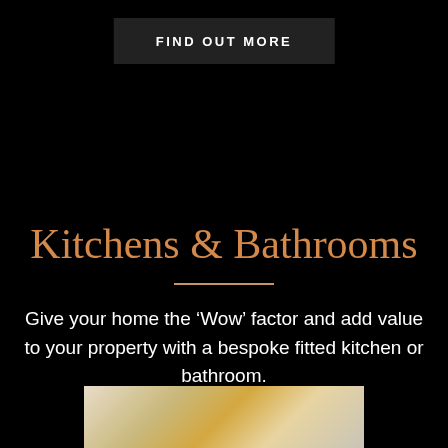FIND OUT MORE
Kitchens & Bathrooms
Give your home the ‘Wow’ factor and add value to your property with a bespoke fitted kitchen or bathroom.
[Figure (photo): Partial view of a kitchen or bathroom fitting, showing light-colored tiles and fixtures]